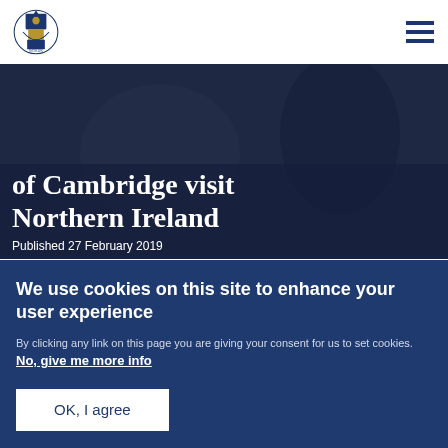UK Government website header with royal crest logo and navigation menu
of Cambridge visit Northern Ireland
Published 27 February 2019
[Figure (photo): Photo showing a classroom or workshop setting with computers and people working]
We use cookies on this site to enhance your user experience
By clicking any link on this page you are giving your consent for us to set cookies. No, give me more info
OK, I agree